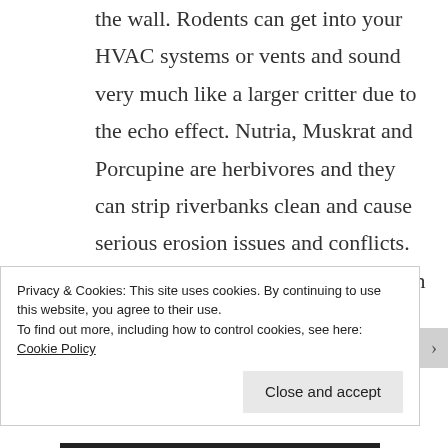the wall. Rodents can get into your HVAC systems or vents and sound very much like a larger critter due to the echo effect. Nutria, Muskrat and Porcupine are herbivores and they can strip riverbanks clean and cause serious erosion issues and conflicts. The Wildlife Professionals can put an end to
Privacy & Cookies: This site uses cookies. By continuing to use this website, you agree to their use.
To find out more, including how to control cookies, see here: Cookie Policy
Close and accept